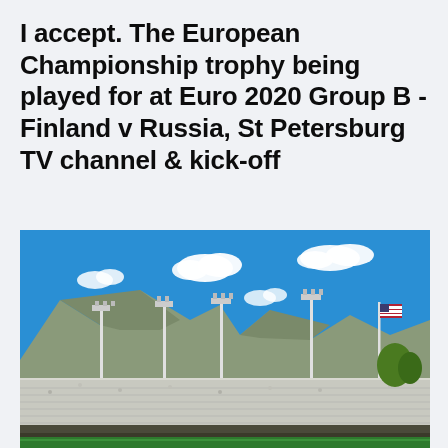I accept. The European Championship trophy being played for at Euro 2020 Group B - Finland v Russia, St Petersburg TV channel & kick-off
[Figure (photo): A packed outdoor sports stadium with green field, crowded white stands, tall floodlight poles, an American flag on a pole, mountains in the background, and a bright blue sky with scattered white clouds.]